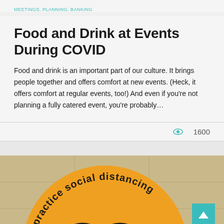MEETINGS, PLANNING, BANKING
Food and Drink at Events During COVID
Food and drink is an important part of our culture. It brings people together and offers comfort at new events. (Heck, it offers comfort at regular events, too!) And even if you're not planning a fully catered event, you're probably…
👁 1600
[Figure (photo): Orange circular floor sticker reading 'practice social distancing' with footprint icons, photographed from above on a tiled floor. A teal back-to-top button is visible in the bottom right corner.]